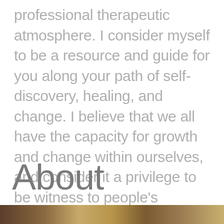professional therapeutic atmosphere. I consider myself to be a resource and guide for you along your path of self-discovery, healing, and change. I believe that we all have the capacity for growth and change within ourselves, and consider it a privilege to be witness to people's personal journeys.
About
[Figure (photo): A partial photo strip visible at the bottom of the page showing warm earth tones]